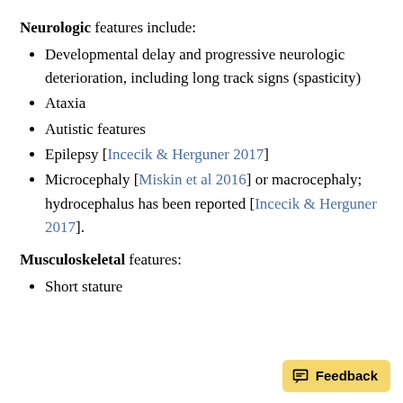Neurologic features include:
Developmental delay and progressive neurologic deterioration, including long track signs (spasticity)
Ataxia
Autistic features
Epilepsy [Incecik & Herguner 2017]
Microcephaly [Miskin et al 2016] or macrocephaly; hydrocephalus has been reported [Incecik & Herguner 2017].
Musculoskeletal features:
Short stature